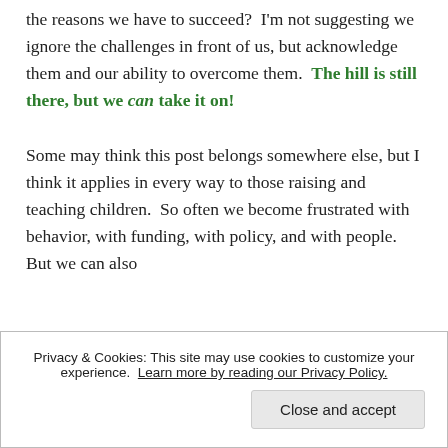the reasons we have to succeed?  I'm not suggesting we ignore the challenges in front of us, but acknowledge them and our ability to overcome them.  The hill is still there, but we can take it on!
Some may think this post belongs somewhere else, but I think it applies in every way to those raising and teaching children.  So often we become frustrated with behavior, with funding, with policy, and with people.  But we can also
Privacy & Cookies: This site may use cookies to customize your experience. Learn more by reading our Privacy Policy.
Close and accept